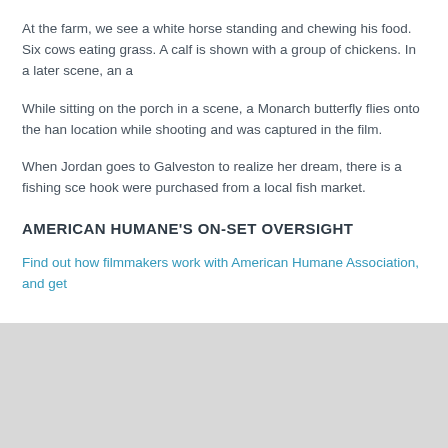At the farm, we see a white horse standing and chewing his food. Six cows eating grass. A calf is shown with a group of chickens. In a later scene, an a
While sitting on the porch in a scene, a Monarch butterfly flies onto the han location while shooting and was captured in the film.
When Jordan goes to Galveston to realize her dream, there is a fishing sce hook were purchased from a local fish market.
AMERICAN HUMANE'S ON-SET OVERSIGHT
Find out how filmmakers work with American Humane Association, and get